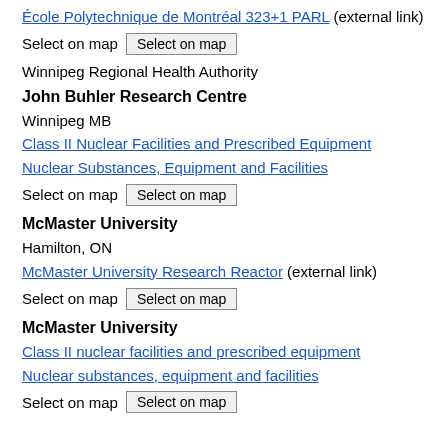École Polytechnique de Montréal 323+1 PARL (external link)
Select on map  [Select on map]
Winnipeg Regional Health Authority
John Buhler Research Centre
Winnipeg MB
Class II Nuclear Facilities and Prescribed Equipment
Nuclear Substances, Equipment and Facilities
Select on map  [Select on map]
McMaster University
Hamilton, ON
McMaster University Research Reactor (external link)
Select on map  [Select on map]
McMaster University
Class II nuclear facilities and prescribed equipment
Nuclear substances, equipment and facilities
Select on map  [Select on map]